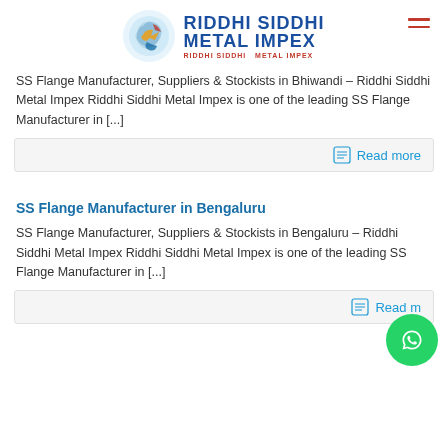RIDDHI SIDDHI METAL IMPEX
SS Flange Manufacturer, Suppliers & Stockists in Bhiwandi – Riddhi Siddhi Metal Impex Riddhi Siddhi Metal Impex is one of the leading SS Flange Manufacturer in [...]
Read more
SS Flange Manufacturer in Bengaluru
SS Flange Manufacturer, Suppliers & Stockists in Bengaluru – Riddhi Siddhi Metal Impex Riddhi Siddhi Metal Impex is one of the leading SS Flange Manufacturer in [...]
Read m...